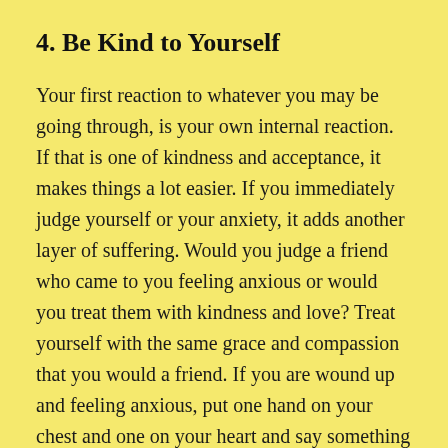4. Be Kind to Yourself
Your first reaction to whatever you may be going through, is your own internal reaction. If that is one of kindness and acceptance, it makes things a lot easier. If you immediately judge yourself or your anxiety, it adds another layer of suffering. Would you judge a friend who came to you feeling anxious or would you treat them with kindness and love? Treat yourself with the same grace and compassion that you would a friend. If you are wound up and feeling anxious, put one hand on your chest and one on your heart and say something kind to yourself like, “These are very unusual and difficult time, but this will pass and I am doing